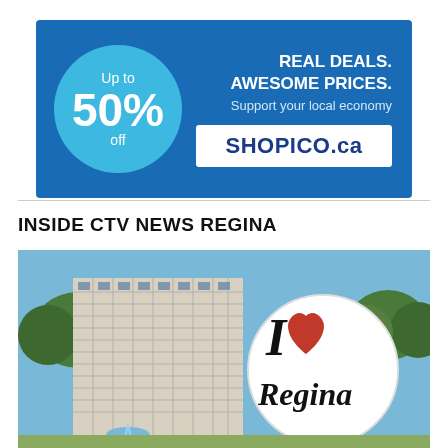[Figure (infographic): SHOPICO.ca advertisement banner with blue background. Left side has a teal circle with 'Up to 50% off'. Right side has text 'REAL DEALS. AWESOME PRICES. Support your local economy' and a white box with 'SHOPICO.ca' in dark blue.]
INSIDE CTV NEWS REGINA
[Figure (photo): Outdoor photo of Regina city hall or government building (tall multi-storey white/grey building with grid windows) next to an 'I Love Regina' sign (I heart Regina) with a red heart. Trees and blue sky in background.]